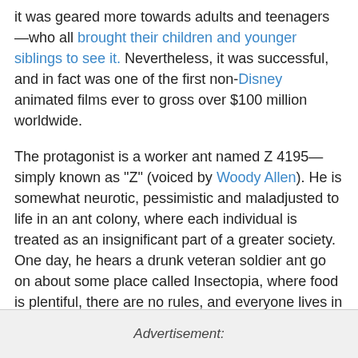it was geared more towards adults and teenagers—who all brought their children and younger siblings to see it. Nevertheless, it was successful, and in fact was one of the first non-Disney animated films ever to gross over $100 million worldwide.
The protagonist is a worker ant named Z 4195—simply known as "Z" (voiced by Woody Allen). He is somewhat neurotic, pessimistic and maladjusted to life in an ant colony, where each individual is treated as an insignificant part of a greater society. One day, he hears a drunk veteran soldier ant go on about some place called Insectopia, where food is plentiful, there are no rules, and everyone lives in peace. Z and his soldier friend Weaver (Sylvester Stallone) snicker at the old ant behind his back and think the idea of an "Insectopia" is hilarious.
Advertisement: